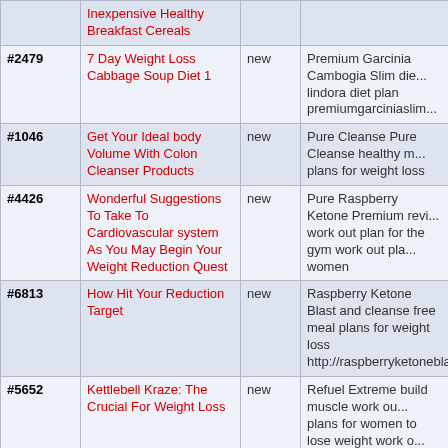| ID | Title | Status | Description |
| --- | --- | --- | --- |
|  | Inexpensive Healthy Breakfast Cereals |  |  |
| #2479 | 7 Day Weight Loss Cabbage Soup Diet 1 | new | Premium Garcinia Cambogia Slim die... lindora diet plan premiumgarciniaslim... |
| #1046 | Get Your Ideal body Volume With Colon Cleanser Products | new | Pure Cleanse Pure Cleanse healthy m... plans for weight loss |
| #4426 | Wonderful Suggestions To Take To Cardiovascular system As You May Begin Your Weight Reduction Quest | new | Pure Raspberry Ketone Premium revi... work out plan for the gym work out pla... women |
| #6813 | How Hit Your Reduction Target | new | Raspberry Ketone Blast and cleanse free meal plans for weight loss http://raspberryketoneblasts.org/ |
| #5652 | Kettlebell Kraze: The Crucial For Weight Loss | new | Refuel Extreme build muscle work ou... plans for women to lose weight work o... weight loss |
| #7101 | Losing Weight... | new | Super Ketone Plus Super Ketone Plu... |